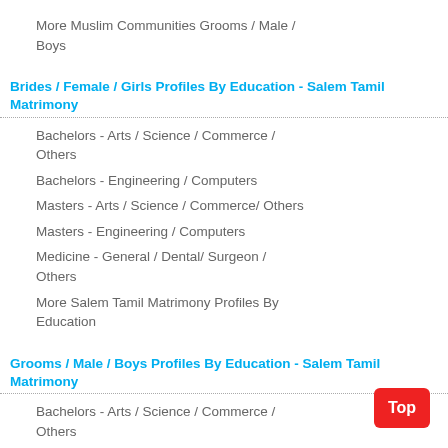More Muslim Communities Grooms / Male / Boys
Brides / Female / Girls Profiles By Education - Salem Tamil Matrimony
Bachelors - Arts / Science / Commerce / Others
Bachelors - Engineering / Computers
Masters - Arts / Science / Commerce/ Others
Masters - Engineering / Computers
Medicine - General / Dental/ Surgeon / Others
More Salem Tamil Matrimony Profiles By Education
Grooms / Male / Boys Profiles By Education - Salem Tamil Matrimony
Bachelors - Arts / Science / Commerce / Others
Bachelors - Engineering / Computers
Masters - Arts/ Science / Commerce / Others
Masters - Engineering / Computers